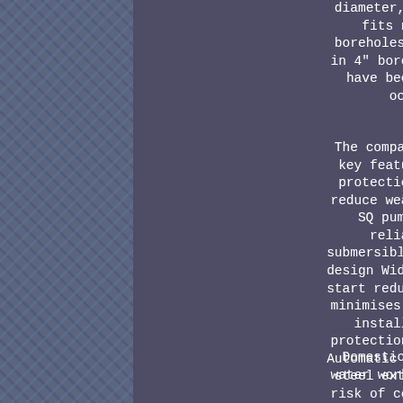diameter, the long, lean pump fits nicely into small boreholes of the same size or in 4" boreholes that over time have become smaller due to ochre deposits.
The compact design along with key features like dryrunning protection and soft start to reduce wear on motor makes the SQ pump one of the most reliable choices for submersible operation. Unique 3 design Wide voltage window Soft start reduces wear on motor and minimises stress of the entire installation Dry-running protection Overload protection Automatic restart All stainless steel exterior design reduces risk of corrosion to a minimum Built-in electronics facilitate installation and operation.
Domestic water supply Small water works Irrigation systems